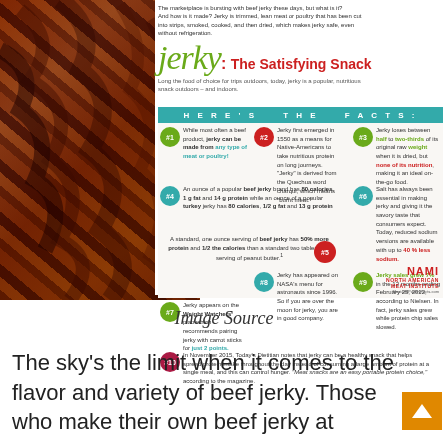[Figure (infographic): Jerky: The Satisfying Snack infographic with 10 numbered facts about beef jerky, overlaid on a photo of beef jerky pieces. Includes a teal 'HERE'S THE FACTS:' banner, numbered circles in green/red/teal/maroon, and a NAMI logo.]
Image Source
The sky's the limit when it comes to the flavor and variety of beef jerky. Those who make their own beef jerky at